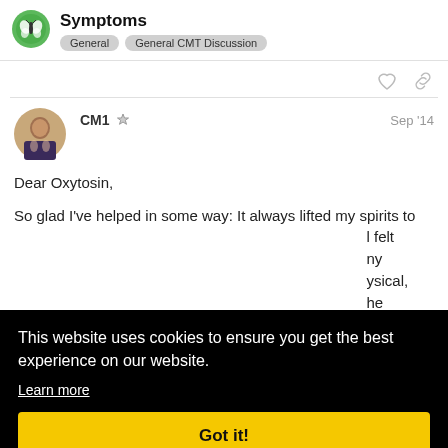Symptoms — General, General CMT Discussion
[Figure (logo): Green circular logo with butterfly/bee icon]
CM1  Sep '14
[Figure (photo): Avatar photo of a person in floral dress]
Dear Oxytosin,
So glad I've helped in some way: It always lifted my spirits to ... I felt ... my ... ysical, ... he ... to
This website uses cookies to ensure you get the best experience on our website. Learn more  Got it!